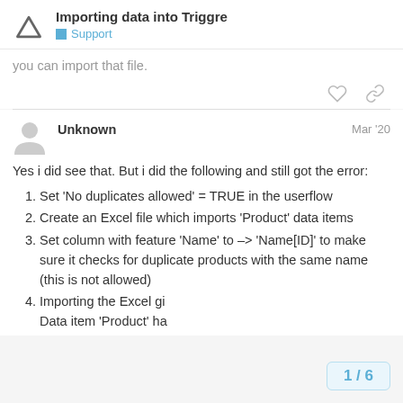Importing data into Triggre
you can import that file.
Unknown   Mar '20
Yes i did see that. But i did the following and still got the error:
Set 'No duplicates allowed' = TRUE in the userflow
Create an Excel file which imports 'Product' data items
Set column with feature 'Name' to -> 'Name[ID]' to make sure it checks for duplicate products with the same name (this is not allowed)
Importing the Excel gi Data item 'Product' ha
1 / 6